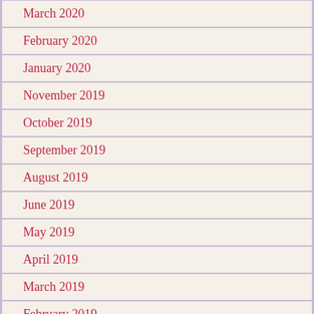March 2020
February 2020
January 2020
November 2019
October 2019
September 2019
August 2019
June 2019
May 2019
April 2019
March 2019
February 2019
January 2019